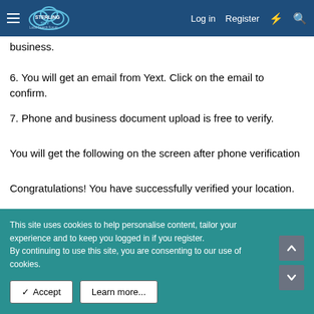Sterling Sky Local Search Forum — Log in | Register
business.
6. You will get an email from Yext. Click on the email to confirm.
7. Phone and business document upload is free to verify.
You will get the following on the screen after phone verification
Congratulations! You have successfully verified your location.
What's next? Your information will be sent to Yahoo within 48 hours. Yahoo will process your request within 2 weeks. Yext will deliver your information to Yahoo, but we do not have control
This site uses cookies to help personalise content, tailor your experience and to keep you logged in if you register.
By continuing to use this site, you are consenting to our use of cookies.